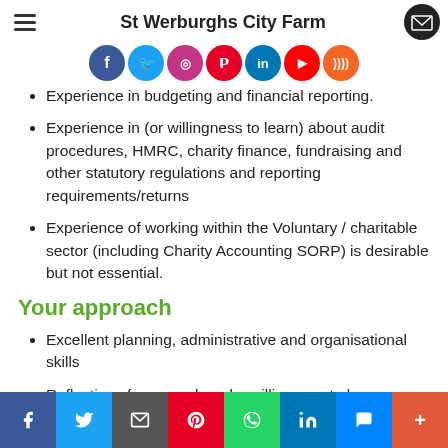St Werburghs City Farm
Experience in budgeting and financial reporting.
Experience in (or willingness to learn) about audit procedures, HMRC, charity finance, fundraising and other statutory regulations and reporting requirements/returns
Experience of working within the Voluntary / charitable sector (including Charity Accounting SORP) is desirable but not essential.
Your approach
Excellent planning, administrative and organisational skills
Reflective of your work and a willingness to learn new skills
Able to work independently and to set priorities